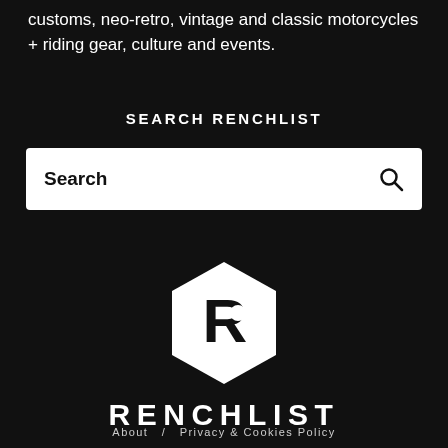customs, neo-retro, vintage and classic motorcycles + riding gear, culture and events.
SEARCH RENCHLIST
[Figure (screenshot): Search input box with bold 'Search' placeholder text and a magnifying glass icon on the right, white background]
[Figure (logo): Renchlist logo: hexagon shape containing a stylized R with a wrench element, white on dark background, with RENCHLIST wordmark below]
About  /  Privacy & Cookies Policy